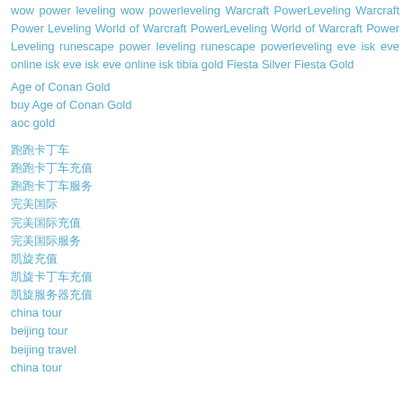wow power leveling wow powerleveling Warcraft PowerLeveling Warcraft Power Leveling World of Warcraft PowerLeveling World of Warcraft Power Leveling runescape power leveling runescape powerleveling eve isk eve online isk eve isk eve online isk tibia gold Fiesta Silver Fiesta Gold
Age of Conan Gold
buy Age of Conan Gold
aoc gold
跑跑卡丁车
跑跑卡丁车充值
跑跑卡丁车服务
完美国际
完美国际充值
完美国际服务
凯旋充值
凯旋卡丁车充值
凯旋服务器充值
china tour
beijing tour
beijing travel
china tour